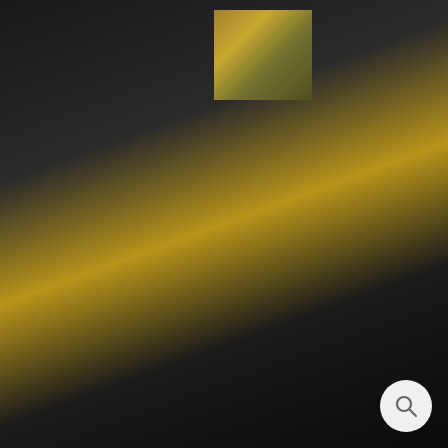[Figure (photo): Four thumbnail product photos: (1) black frame with gold logo plaque, (2) black frame with gold corner detail, (3) close-up of gold/tan surface with chain, (4) gold vinyl record disc edge]
BACHMAN TURNER OVERDRIVE - NOT FRAGILE GOLD LP LIMITED SIGNATURE EDITION STUDIO LICENSED CUSTOM FRAME
$279.99 USD
View in your room
OR 4 INTEREST-FREE PAYMENTS OF $70.00 USD WITH
sezzle
MAKE AN OFFER
− 1 +